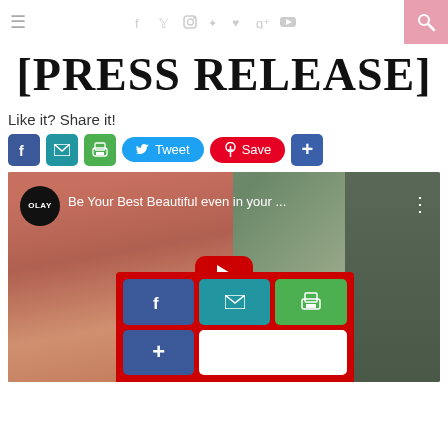≡  f y ig pinterest ♥ g+ yt  🔍
[PRESS RELEASE]
Like it? Share it!
[Figure (screenshot): Social share buttons row: Facebook, email, print, Tweet, Pinterest Save, plus button]
[Figure (screenshot): YouTube video embed: Olay - Be Your Best Beautiful even in your ... with play button overlay and share panel]